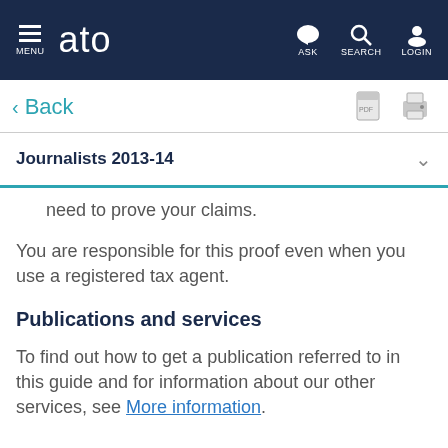MENU | ato | ASK | SEARCH | LOGIN
< Back
Journalists 2013-14
…you have or can get the written evidence you need to prove your claims.
You are responsible for this proof even when you use a registered tax agent.
Publications and services
To find out how to get a publication referred to in this guide and for information about our other services, see More information.